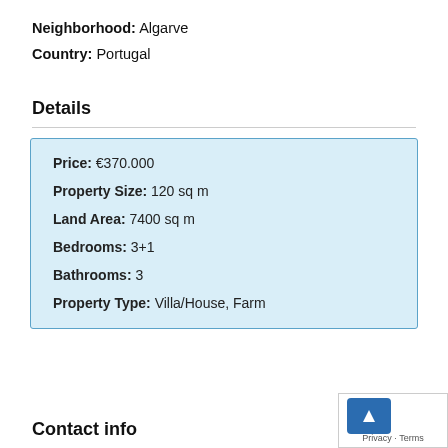Neighborhood: Algarve
Country: Portugal
Details
| Price: | €370.000 |
| Property Size: | 120 sq m |
| Land Area: | 7400 sq m |
| Bedrooms: | 3+1 |
| Bathrooms: | 3 |
| Property Type: | Villa/House, Farm |
Contact info